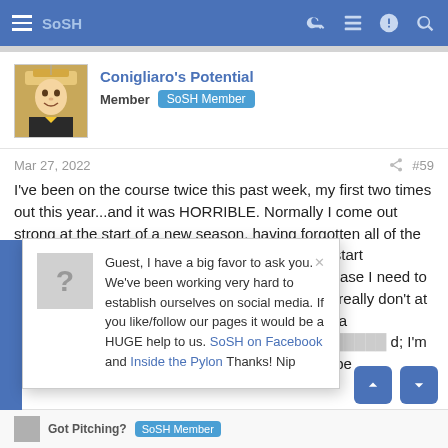SoSH
Conigliaro's Potential
Member  SoSH Member
Mar 27, 2022  #59
I've been on the course twice this past week, my first two times out this year...and it was HORRIBLE. Normally I come out strong at the start of a new season, having forgotten all of the negative shots I'd hit the previous year (before I start remembering them again), but for that to be the case I need to know where the bottom of my swing arc is, and I really don't at the moment. I've been topping and thinning the ba... ...elled literally three ya... ...d; I'm going out ag... ...ings will be at all be...
Guest, I have a big favor to ask you. We've been working very hard to establish ourselves on social media. If you like/follow our pages it would be a HUGE help to us. SoSH on Facebook and Inside the Pylon Thanks! Nip
Got Pitching?  SoSH Member